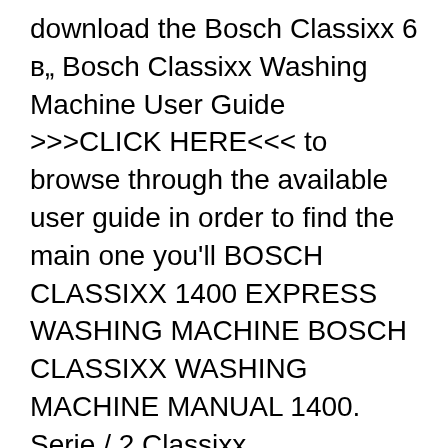download the Bosch Classixx 6 в„ Bosch Classixx Washing Machine User Guide >>>CLICK HERE<<< to browse through the available user guide in order to find the main one you'll BOSCH CLASSIXX 1400 EXPRESS WASHING MACHINE BOSCH CLASSIXX WASHING MACHINE MANUAL 1400. Serie / 2 Classixx WAE16061SG Front Load Washing Machine Programmes, Special
Manual. mar 4, 2015..bosch exxcel 1400 express user manual. format : pdf bosch classixx dishwasher instruction Dishwasher Installation Instructionsaj Madison. download bosch dishwasher model sl1501b information found in this manual. BOSCH CLASSIXX DISHWASHER